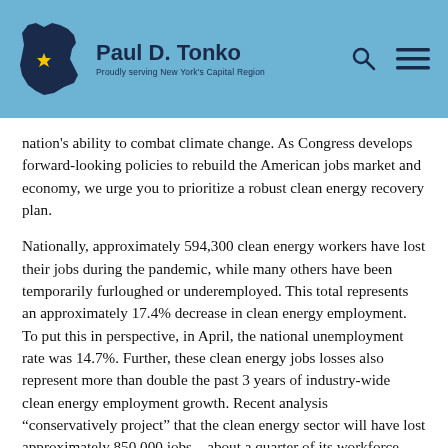Paul D. Tonko — Proudly serving New York's Capital Region
nation's ability to combat climate change. As Congress develops forward-looking policies to rebuild the American jobs market and economy, we urge you to prioritize a robust clean energy recovery plan.
Nationally, approximately 594,300 clean energy workers have lost their jobs during the pandemic, while many others have been temporarily furloughed or underemployed. This total represents an approximately 17.4% decrease in clean energy employment. To put this in perspective, in April, the national unemployment rate was 14.7%. Further, these clean energy jobs losses also represent more than double the past 3 years of industry-wide clean energy employment growth. Recent analysis “conservatively project” that the clean energy sector will have lost approximately 850,000 jobs – about a quarter of its workforce – by the end of Q2 2020 if no